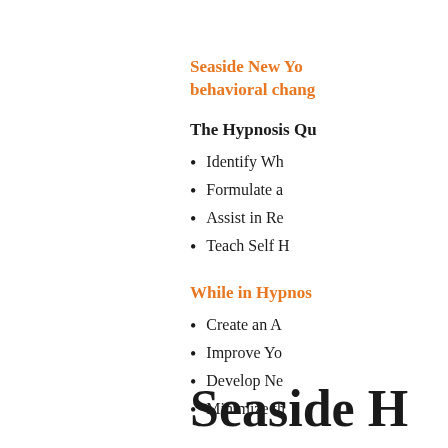Seaside New Yo... behavioral chang...
The Hypnosis Qu...
Identify Wh...
Formulate a...
Assist in Re...
Teach Self H...
While in Hypnos...
Create an A...
Improve Yo...
Develop Ne...
Minimize th...
Seaside H...